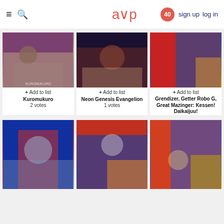≡ 🔍 aup 40 sign up log in
[Figure (photo): Kuromukuro anime cover art]
+ Add to list
Kuromukuro
2 votes
[Figure (photo): Neon Genesis Evangelion anime cover art]
+ Add to list
Neon Genesis Evangelion
1 votes
[Figure (photo): Grendizer, Getter Robo G, Great Mazinger: Kessen! Daikaijuu! anime cover art]
+ Add to list
Grendizer, Getter Robo G, Great Mazinger: Kessen! Daikaijuu!
[Figure (photo): Ultraman anime cover art]
[Figure (photo): Getter Robo anime cover art]
[Figure (photo): Getter Robo mecha anime cover art]